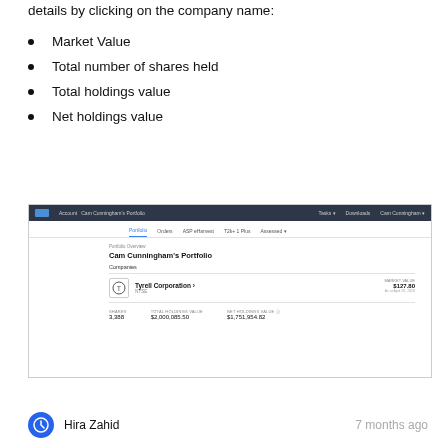details by clicking on the company name:
Market Value
Total number of shares held
Total holdings value
Net holdings value
[Figure (screenshot): Screenshot of Cam Cunningham's Portfolio page showing Tyrell Corporation holding with market value $127.80, shares 3,388, total holdings value $2,000,085.50, net holdings value $1,751,954.82]
Hira Zahid
7 months ago